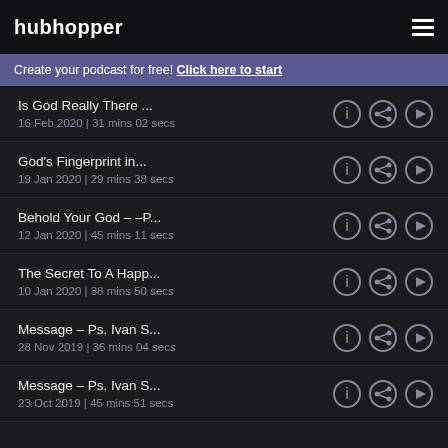hubhopper
Create your podcast for free! Click here to start
Is God Really There ...
16 Feb 2020 | 31 mins 02 secs
God's Fingerprint in...
19 Jan 2020 | 29 mins 38 secs
Behold Your God – –P...
12 Jan 2020 | 45 mins 11 secs
The Secret To A Happ...
10 Jan 2020 | 38 mins 50 secs
Message – Ps. Ivan S...
28 Nov 2019 | 36 mins 04 secs
Message – Ps. Ivan S...
23 Oct 2019 | 45 mins 51 secs